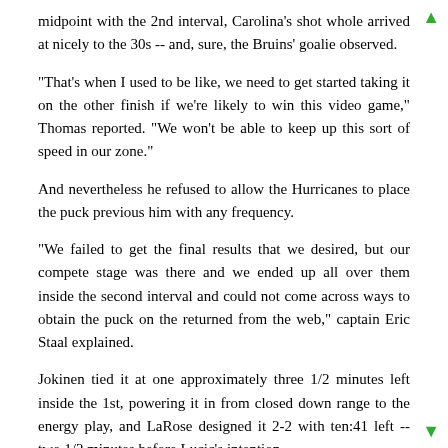midpoint with the 2nd interval, Carolina's shot whole arrived at nicely to the 30s -- and, sure, the Bruins' goalie observed.
"That's when I used to be like, we need to get started taking it on the other finish if we're likely to win this video game," Thomas reported. "We won't be able to keep up this sort of speed in our zone."
And nevertheless he refused to allow the Hurricanes to place the puck previous him with any frequency.
"We failed to get the final results that we desired, but our compete stage was there and we ended up all over them inside the second interval and could not come across ways to obtain the puck on the returned from the web," captain Eric Staal explained.
Jokinen tied it at one approximately three 1/2 minutes left inside the 1st, powering it in from closed down range to the energy play, and LaRose designed it 2-2 with ten:41 left -- two 1/2 minutes before Lucic's intention.